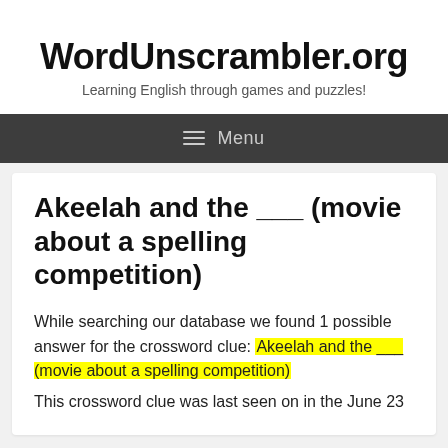WordUnscrambler.org
Learning English through games and puzzles!
Menu
Akeelah and the ___ (movie about a spelling competition)
While searching our database we found 1 possible answer for the crossword clue: Akeelah and the ___ (movie about a spelling competition)
This crossword clue was last seen on in the June 23